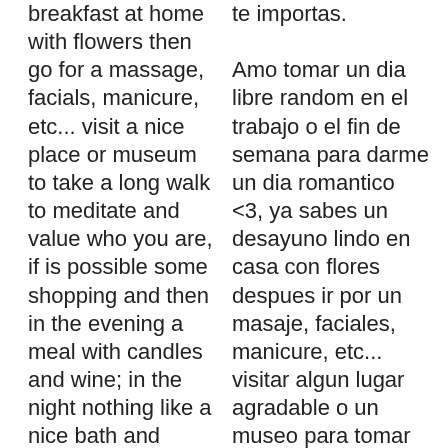breakfast at home with flowers then go for a massage, facials, manicure, etc... visit a nice place or museum to take a long walk to meditate and value who you are, if is possible some shopping and then in the evening a meal with candles and wine; in the night nothing like a nice bath and beauty treatments, to finish watching a good movie with a delicious dinner (aka a
te importas. Amo tomar un dia libre random en el trabajo o el fin de semana para darme un dia romantico <3, ya sabes un desayuno lindo en casa con flores despues ir por un masaje, faciales, manicure, etc... visitar algun lugar agradable o un museo para tomar una larga caminata de meditacion y valorar quien eres, si es posible algo de compras y luego por la tarde una